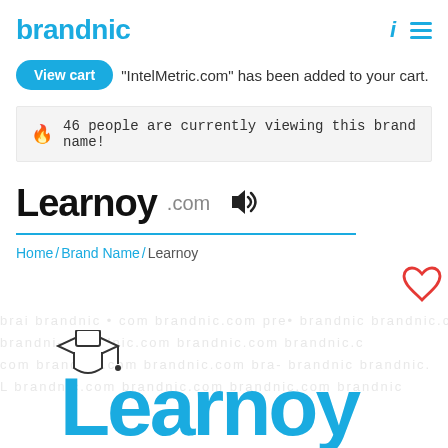brandnic
"IntelMetric.com" has been added to your cart.
46 people are currently viewing this brand name!
Learnoy.com
Home / Brand Name / Learnoy
[Figure (logo): Learnoy logo with graduation cap and blue text reading 'Learnoy']